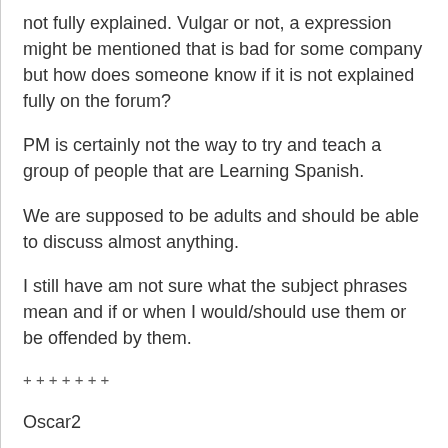not fully explained. Vulgar or not, a expression might be mentioned that is bad for some company but how does someone know if it is not explained fully on the forum?
PM is certainly not the way to try and teach a group of people that are Learning Spanish.
We are supposed to be adults and should be able to discuss almost anything.
I still have am not sure what the subject phrases mean and if or when I would/should use them or be offended by them.
+ + + + + + +
Oscar2
We are supposed to be adults and should be able to discuss almost anything.